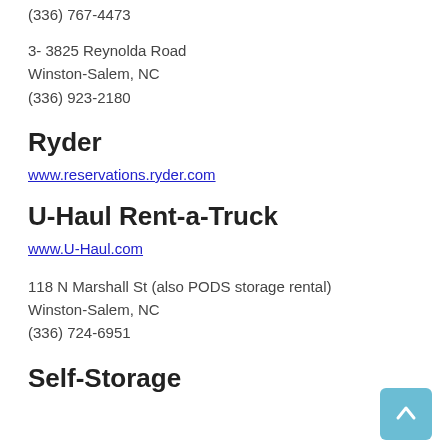(336) 767-4473
3- 3825 Reynolda Road
Winston-Salem, NC
(336) 923-2180
Ryder
www.reservations.ryder.com
U-Haul Rent-a-Truck
www.U-Haul.com
118 N Marshall St (also PODS storage rental)
Winston-Salem, NC
(336) 724-6951
Self-Storage